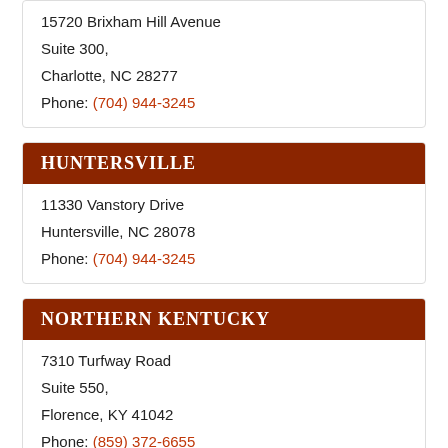15720 Brixham Hill Avenue
Suite 300,
Charlotte, NC 28277
Phone: (704) 944-3245
HUNTERSVILLE
11330 Vanstory Drive
Huntersville, NC 28078
Phone: (704) 944-3245
NORTHERN KENTUCKY
7310 Turfway Road
Suite 550,
Florence, KY 41042
Phone: (859) 372-6655